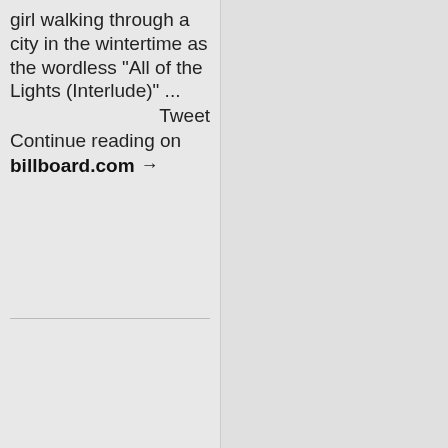girl walking through a city in the wintertime as the wordless "All of the Lights (Interlude)" ...
Tweet
Continue reading on billboard.com →
© 2010 THE REAL TIMER, CONTACT OFFICE@THEREALTIMER.COM © COPYRIGHTS OF HEADLINES AND IMAGES ATTRIBUTED TO THEIR